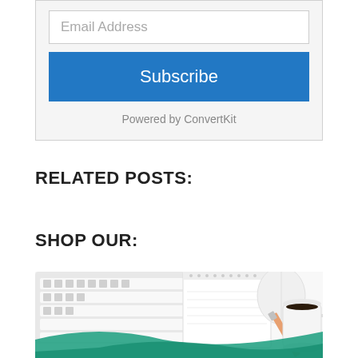Email Address
Subscribe
Powered by ConvertKit
RELATED POSTS:
SHOP OUR:
[Figure (photo): Flat lay photo of a white keyboard, notepad/calendar, pencil, white mouse, and a white mug with black coffee on a white desk surface, with teal/green graphic overlay at the bottom]